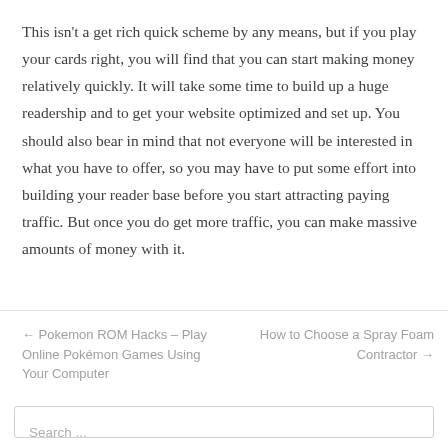This isn't a get rich quick scheme by any means, but if you play your cards right, you will find that you can start making money relatively quickly. It will take some time to build up a huge readership and to get your website optimized and set up. You should also bear in mind that not everyone will be interested in what you have to offer, so you may have to put some effort into building your reader base before you start attracting paying traffic. But once you do get more traffic, you can make massive amounts of money with it.
← Pokemon ROM Hacks – Play Online Pokémon Games Using Your Computer | How to Choose a Spray Foam Contractor →
Search ...